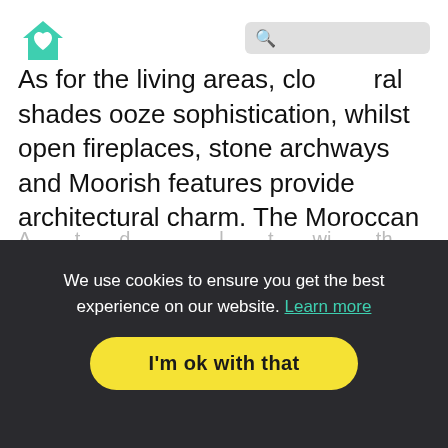[Figure (logo): House-shaped logo with teal/green color and a heart symbol inside]
As for the living areas, clo...ral shades ooze sophistication, whilst open fireplaces, stone archways and Moorish features provide architectural charm. The Moroccan inspired lighting creates a truly seductive and elegant ambience once the sun sets over the distant horizon.
We use cookies to ensure you get the best experience on our website. Learn more
I'm ok with that